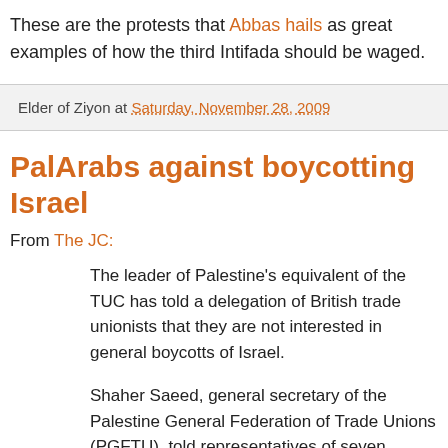These are the protests that Abbas hails as great examples of how the third Intifada should be waged.
Elder of Ziyon at Saturday, November 28, 2009
PalArabs against boycotting Israel
From The JC:
The leader of Palestine’s equivalent of the TUC has told a delegation of British trade unionists that they are not interested in general boycotts of Israel.
Shaher Saeed, general secretary of the Palestine General Federation of Trade Unions (PGFTU), told representatives of seven unions that the organisation had so little interest in the subject it had never discussed boycotts, divestment and sanctions (BDS) and therefore had no policy on